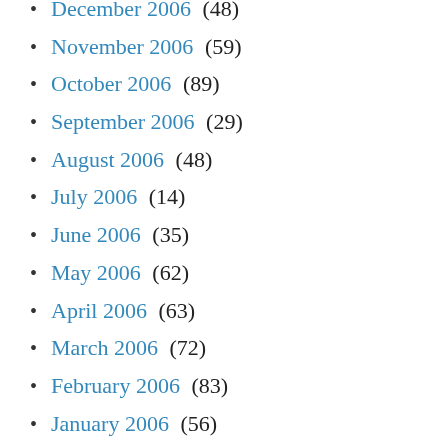December 2006 (48)
November 2006 (59)
October 2006 (89)
September 2006 (29)
August 2006 (48)
July 2006 (14)
June 2006 (35)
May 2006 (62)
April 2006 (63)
March 2006 (72)
February 2006 (83)
January 2006 (56)
December 2005 (46)
November 2005 (60)
October 2005 (27)
September 2005 (54)
August 2005 (82)